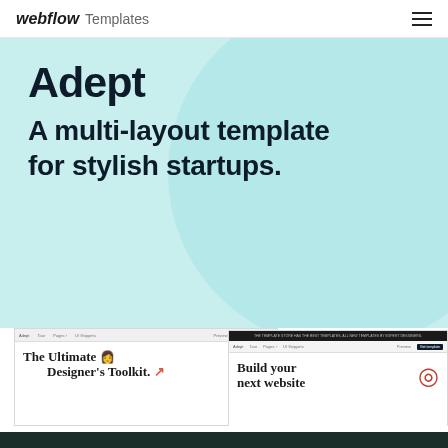webflow Templates
[Figure (screenshot): Adept template preview - hero section with light teal background, large 'Adept' title and 'A multi-layout template for stylish startups.' tagline, with a large circle shape]
[Figure (screenshot): Two website template previews side by side: left shows 'The Ultimate Designer's Toolkit.' and right shows 'Build your next website']
Adept
Startup
$79 USD